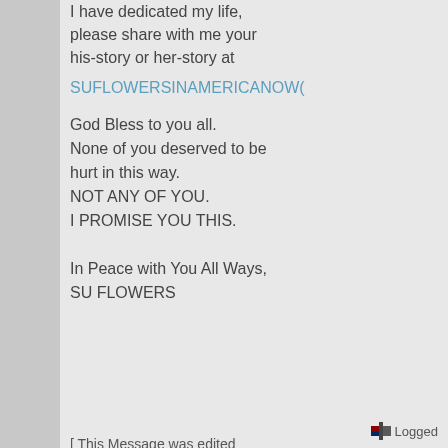I have dedicated my life, please share with me your his-story or her-story at
SUFLOWERSINAMERICANOW(
God Bless to you all.
None of you deserved to be hurt in this way.
NOT ANY OF YOU.
I PROMISE YOU THIS.

In Peace with You All Ways,
SU FLOWERS
[ This Message was edited by: suflowersinamericanow on 2003-07-15 09:06 ]
« Last Edit: December 31, 1969, 07:00:00 PM by Guest »
Logged